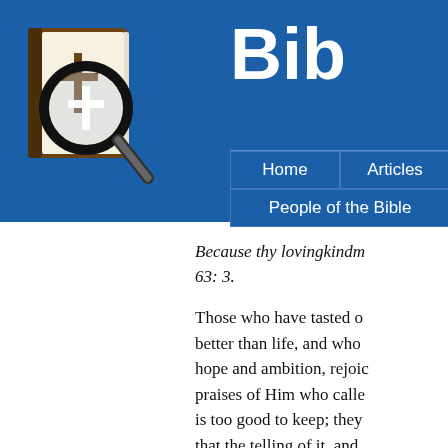[Figure (logo): Bible study logo: brown book with magnifying glass containing a cross symbol]
Bib
[Figure (screenshot): Navigation bar with Home, Articles, and People of the Bible buttons on blue background]
Because thy lovingkindm... 63: 3.
Those who have tasted o... better than life, and who... hope and ambition, rejoic... praises of Him who calle... is too good to keep; they... that the telling of it, and...